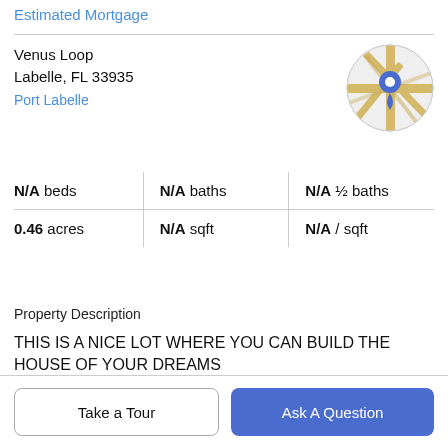Estimated Mortgage
Venus Loop
Labelle, FL 33935
Port Labelle
[Figure (map): Circular map thumbnail showing street map with a blue location pin marker over an intersection, roads shown in yellow/gold on light gray background.]
N/A beds | N/A baths | N/A ½ baths
0.46 acres | N/A sqft | N/A / sqft
Property Description
THIS IS A NICE LOT WHERE YOU CAN BUILD THE HOUSE OF YOUR DREAMS
Take a Tour
Ask A Question